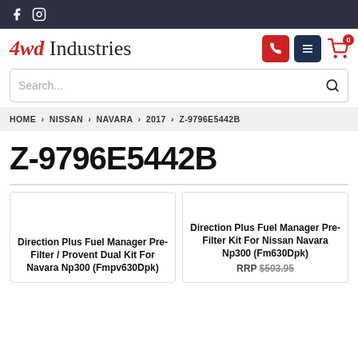4wd Industries – Social media icons (Facebook, Instagram) in top bar
[Figure (logo): 4wd Industries logo with red italic '4wd' and dark serif 'Industries' text]
Search...
HOME › NISSAN › NAVARA › 2017 › Z-9796E5442B
Z-9796E5442B
Direction Plus Fuel Manager Pre-Filter / Provent Dual Kit For Navara Np300 (Fmpv630Dpk)
Direction Plus Fuel Manager Pre-Filter Kit For Nissan Navara Np300 (Fm630Dpk)
RRP $593.95